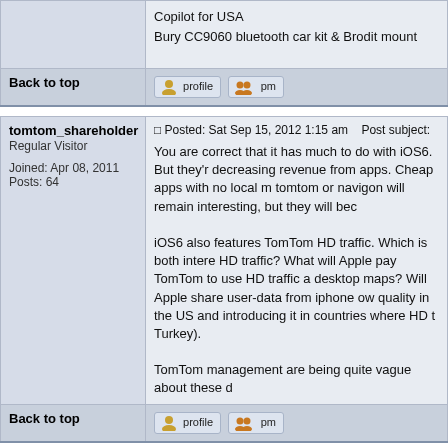Copilot for USA
Bury CC9060 bluetooth car kit & Brodit mount
Back to top
tomtom_shareholder
Regular Visitor
Joined: Apr 08, 2011
Posts: 64
Posted: Sat Sep 15, 2012 1:15 am    Post subject:
You are correct that it has much to do with iOS6. But they're decreasing revenue from apps. Cheap apps with no local m... tomtom or navigon will remain interesting, but they will bec...

iOS6 also features TomTom HD traffic. Which is both intere... HD traffic? What will Apple pay TomTom to use HD traffic a... desktop maps? Will Apple share user-data from iphone ow... quality in the US and introducing it in countries where HD t... Turkey).

TomTom management are being quite vague about these d...
Back to top
peterc10
Frequent Visitor
Joined: Aug 21, 2005
Posts: 1761
Location: Kent, England
Posted: Sat Sep 15, 2012 8:12 am    Post subject:
I suspect this will cause TT real problems. Most iphone use... maps will be no problem to them (as long as they stay in th... have driven a very hard bargain. I suspect TT need Apple m...